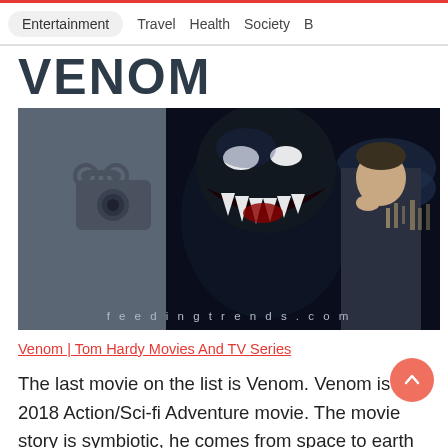Entertainment  Travel  Health  Society  B
VENOM
[Figure (photo): Dark background movie promotional image showing the Venom symbiote creature with open mouth full of teeth facing a man (Tom Hardy), with a film camera icon on left and feedingtrends.com watermark at bottom]
Venom | Tom Hardy Movies And TV Series
The last movie on the list is Venom. Venom is a 2018 Action/Sci-fi Adventure movie. The movie story is symbiotic, he comes from space to earth and he needs the human body to live.